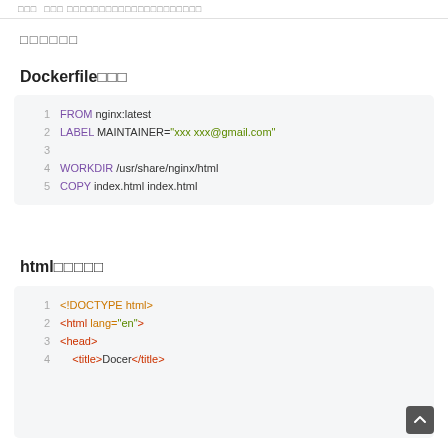□□□□□□□□□□□□□□□□□□□□□□
□□□□□□
Dockerfile□□□
[Figure (screenshot): Code block showing Dockerfile contents: FROM nginx:latest, LABEL MAINTAINER="xxx xxx@gmail.com", (blank line), WORKDIR /usr/share/nginx/html, COPY index.html index.html]
html□□□□□
[Figure (screenshot): Code block showing HTML file start: <!DOCTYPE html>, <html lang="en">, <head>, <title>Docer</title>]